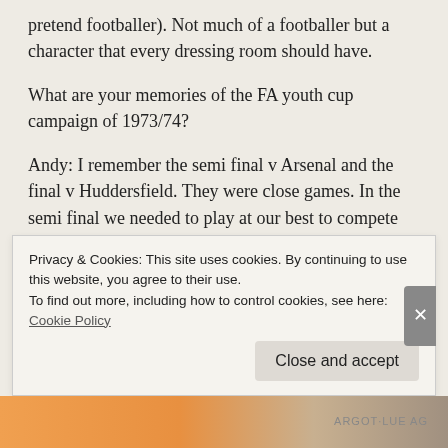pretend footballer). Not much of a footballer but a character that every dressing room should have.
What are your memories of the FA youth cup campaign of 1973/74?
Andy: I remember the semi final v Arsenal and the final v Huddersfield. They were close games. In the semi final we needed to play at our best to compete with a star studded Arsenal team. We were the underdogs but knew that we had the talent and tenacity to beat them. Against Huddersfield we travelled to their ground for an evening KO against a team that we expected to beat, but they were like most typical Northerners, tough and uncompromising. Fortunately we won and I believe that our successful cup campaign was because of the camaraderie in our team. We were great friends and were prepared to fight for each
Privacy & Cookies: This site uses cookies. By continuing to use this website, you agree to their use.
To find out more, including how to control cookies, see here: Cookie Policy
Close and accept